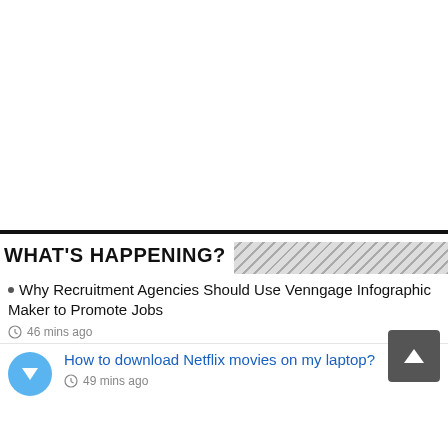[Figure (other): Large white/blank area at top of page above a thick black horizontal divider line]
WHAT'S HAPPENING?
Why Recruitment Agencies Should Use Venngage Infographic Maker to Promote Jobs
46 mins ago
How to download Netflix movies on my laptop?
49 mins ago